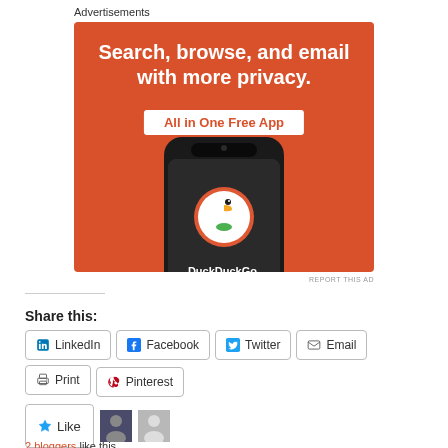Advertisements
[Figure (illustration): DuckDuckGo advertisement banner with orange background showing phone with DuckDuckGo logo. Text: 'Search, browse, and email with more privacy. All in One Free App. DuckDuckGo.']
REPORT THIS AD
Share this:
LinkedIn
Facebook
Twitter
Email
Print
Pinterest
Like
2 bloggers like this.